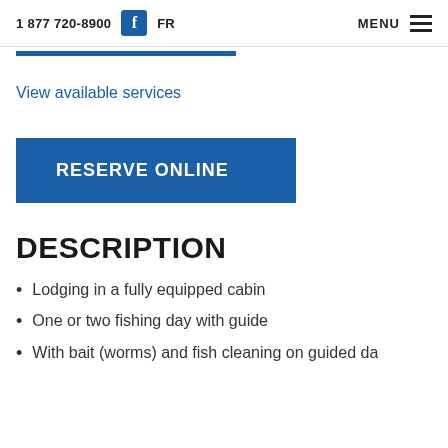1 877 720-8900  f  FR  MENU
View available services
RESERVE ONLINE
DESCRIPTION
Lodging in a fully equipped cabin
One or two fishing day with guide
With bait (worms) and fish cleaning on guided da…